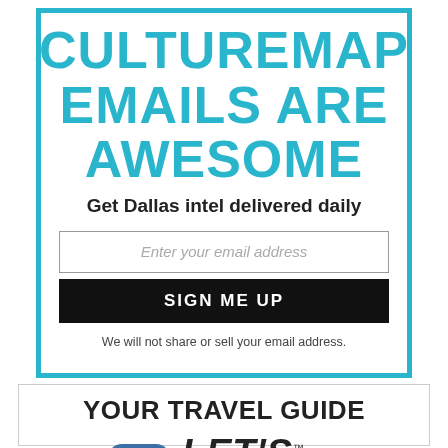CULTUREMAP EMAILS ARE AWESOME
Get Dallas intel delivered daily
Enter your email address
SIGN ME UP
We will not share or sell your email address.
YOUR TRAVEL GUIDE
[Figure (logo): Let's Texas app logo with Texas state outline icon in blue and the text LET'S TEXAS in bold italic]